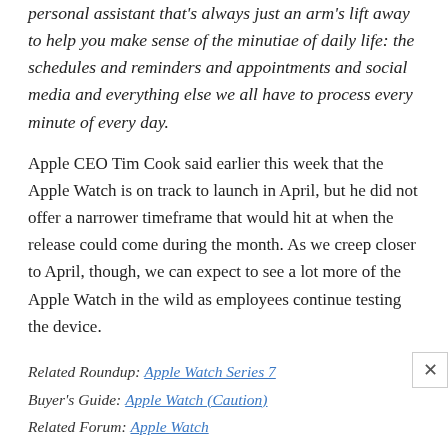personal assistant that's always just an arm's lift away to help you make sense of the minutiae of daily life: the schedules and reminders and appointments and social media and everything else we all have to process every minute of every day.
Apple CEO Tim Cook said earlier this week that the Apple Watch is on track to launch in April, but he did not offer a narrower timeframe that would hit at when the release could come during the month. As we creep closer to April, though, we can expect to see a lot more of the Apple Watch in the wild as employees continue testing the device.
Related Roundup: Apple Watch Series 7
Buyer's Guide: Apple Watch (Caution)
Related Forum: Apple Watch
[ 260 comments ]
Get weekly top MacRumors stories in your inbox.
Email Address  Subscribe